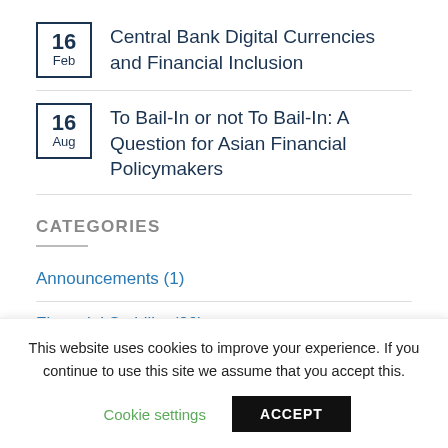16 Feb — Central Bank Digital Currencies and Financial Inclusion
16 Aug — To Bail-In or not To Bail-In: A Question for Asian Financial Policymakers
CATEGORIES
Announcements (1)
Financial Stability (20)
Human Capital (1)
This website uses cookies to improve your experience. If you continue to use this site we assume that you accept this.